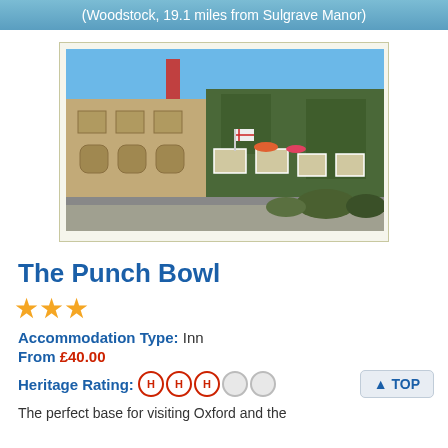(Woodstock, 19.1 miles from Sulgrave Manor)
[Figure (photo): Exterior photo of The Punch Bowl inn — a stone Cotswold building with ivy-covered facade, flags, and flower boxes on a sunny day]
The Punch Bowl
★★★
Accommodation Type: Inn
From £40.00
Heritage Rating: HHH○○
The perfect base for visiting Oxford and the